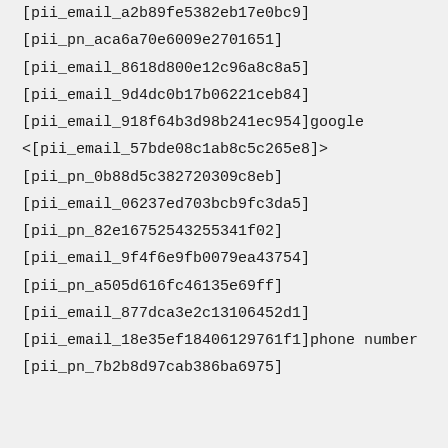[pii_email_a2b89fe5382eb17e0bc9]
[pii_pn_aca6a70e6009e2701651]
[pii_email_8618d800e12c96a8c8a5]
[pii_email_9d4dc0b17b06221ceb84]
[pii_email_918f64b3d98b241ec954]google
<[pii_email_57bde08c1ab8c5c265e8]>
[pii_pn_0b88d5c382720309c8eb]
[pii_email_06237ed703bcb9fc3da5]
[pii_pn_82e16752543255341f02]
[pii_email_9f4f6e9fb0079ea43754]
[pii_pn_a505d616fc46135e69ff]
[pii_email_877dca3e2c13106452d1]
[pii_email_18e35ef18406129761f1]phone number
[pii_pn_7b2b8d97cab386ba6975]